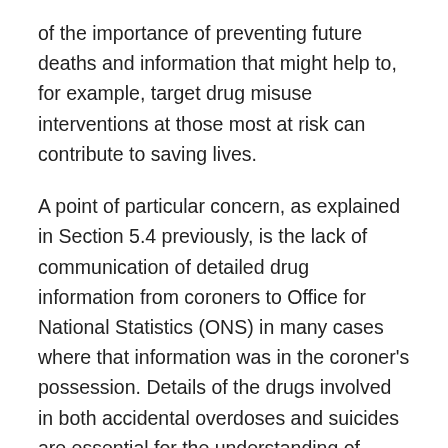of the importance of preventing future deaths and information that might help to, for example, target drug misuse interventions at those most at risk can contribute to saving lives.
A point of particular concern, as explained in Section 5.4 previously, is the lack of communication of detailed drug information from coroners to Office for National Statistics (ONS) in many cases where that information was in the coroner's possession. Details of the drugs involved in both accidental overdoses and suicides are essential for the understanding of trends and the formulation of drug misuse and suicide policies and interventions.